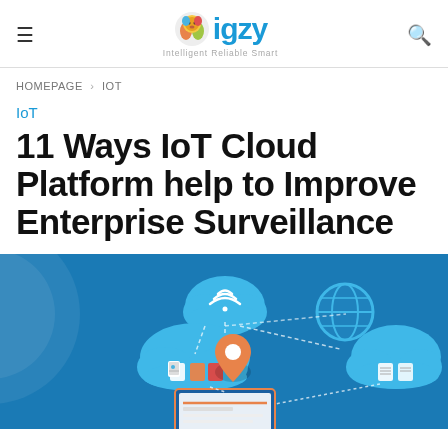igzy — Intelligent Reliable Smart
HOMEPAGE > IOT
IoT
11 Ways IoT Cloud Platform help to Improve Enterprise Surveillance
[Figure (illustration): IoT cloud platform illustration showing multiple clouds connected by dashed lines with icons for wifi, globe, location pin, and document files on a blue background, with a laptop/monitor at the bottom center]